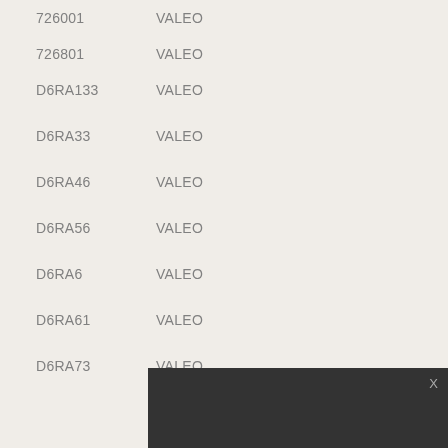| Code | Company |
| --- | --- |
| 726001 | VALEO |
| 726801 | VALEO |
| D6RA133 | VALEO |
| D6RA33 | VALEO |
| D6RA46 | VALEO |
| D6RA56 | VALEO |
| D6RA6 | VALEO |
| D6RA61 | VALEO |
| D6RA73 | VALEO |